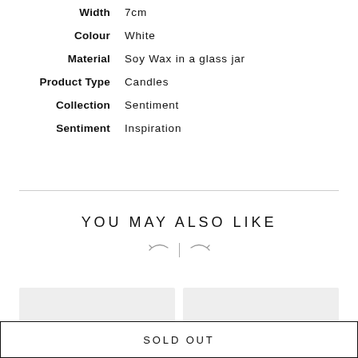Width: 7cm
Colour: White
Material: Soy Wax in a glass jar
Product Type: Candles
Collection: Sentiment
Sentiment: Inspiration
YOU MAY ALSO LIKE
[Figure (other): Navigation arrows left and right with vertical divider]
[Figure (photo): Two product thumbnail images side by side]
SOLD OUT